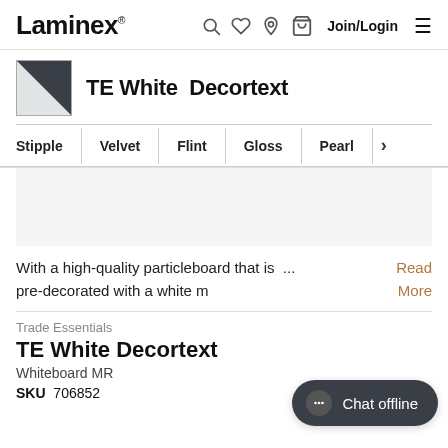Laminex — Join/Login navigation
TE White  Decortext
| Stipple | Velvet | Flint | Gloss | Pearl | > |
| --- | --- | --- | --- | --- | --- |
With a high-quality particleboard that is ... Read More pre-decorated with a white m
Trade Essentials
TE White Decortext
Whiteboard MR
SKU  706852